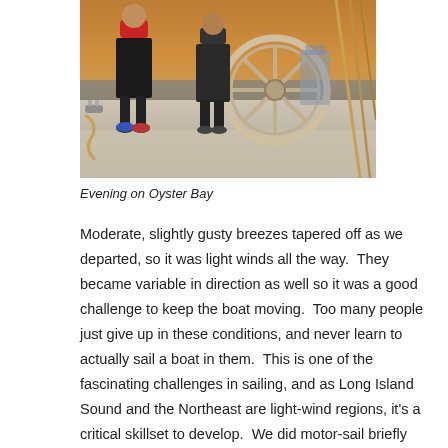[Figure (photo): Two people standing on the deck of a sailboat at evening, with a large steering wheel visible and rigging lines on the right side. The water is visible in the background.]
Evening on Oyster Bay
Moderate, slightly gusty breezes tapered off as we departed, so it was light winds all the way.  They became variable in direction as well so it was a good challenge to keep the boat moving.  Too many people just give up in these conditions, and never learn to actually sail a boat in them.  This is one of the fascinating challenges in sailing, and as Long Island Sound and the Northeast are light-wind regions, it's a critical skillset to develop.  We did motor-sail briefly